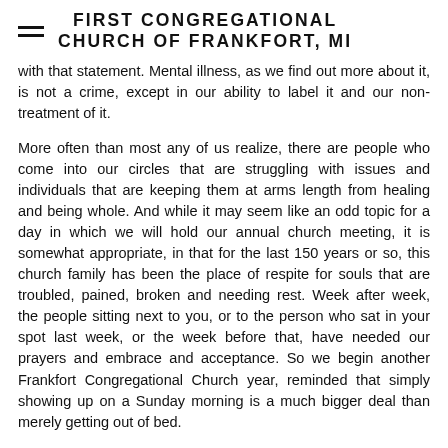FIRST CONGREGATIONAL CHURCH OF FRANKFORT, MI
with that statement. Mental illness, as we find out more about it, is not a crime, except in our ability to label it and our non-treatment of it.
More often than most any of us realize, there are people who come into our circles that are struggling with issues and individuals that are keeping them at arms length from healing and being whole. And while it may seem like an odd topic for a day in which we will hold our annual church meeting, it is somewhat appropriate, in that for the last 150 years or so, this church family has been the place of respite for souls that are troubled, pained, broken and needing rest. Week after week, the people sitting next to you, or to the person who sat in your spot last week, or the week before that, have needed our prayers and embrace and acceptance. So we begin another Frankfort Congregational Church year, reminded that simply showing up on a Sunday morning is a much bigger deal than merely getting out of bed.